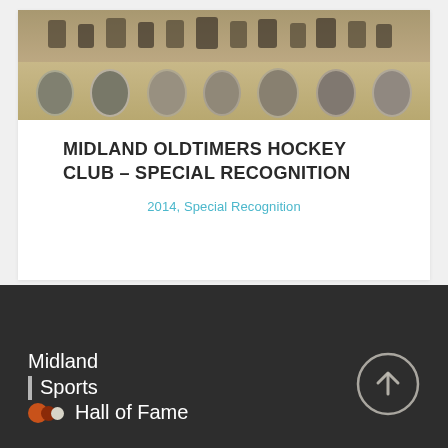[Figure (photo): Old black-and-white team photo of Midland Oldtimers Hockey Club with oval portraits of members at bottom]
MIDLAND OLDTIMERS HOCKEY CLUB – SPECIAL RECOGNITION
2014, Special Recognition
[Figure (logo): Midland Sports Hall of Fame logo with colored dots and white text on dark background]
[Figure (other): Circular scroll-to-top button with upward arrow on dark background]